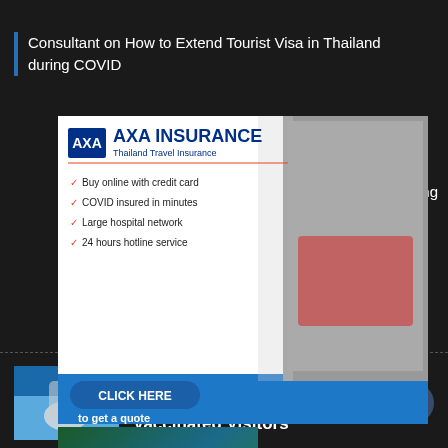Consultant on How to Extend Tourist Visa in Thailand during COVID
[Figure (infographic): AXA Insurance Thailand Travel Insurance advertisement banner. White background on left with AXA logo. Features listed with orange checkmarks: Buy online with credit card, COVID insured in minutes, Large hospital network, 24 hours hotline service. Blue bottom section with CLICK HERE button and 'to get a quote' text. Right side shows photo of family with luggage.]
land during
[Figure (photo): Thumbnail image showing Thailand Pass Sys[tem] with green/blue background]
land Pass Sys
29.11.2021
Thailand to Lift Quarantine for Vaccinated Visitors